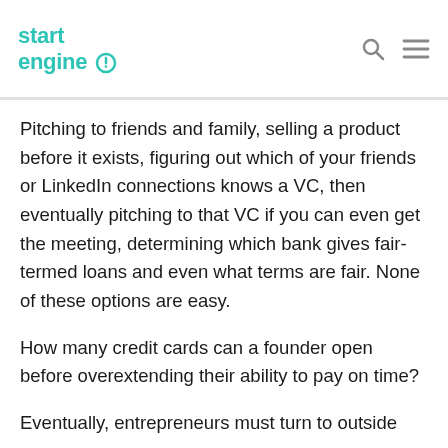StartEngine logo with search and menu icons
Pitching to friends and family, selling a product before it exists, figuring out which of your friends or LinkedIn connections knows a VC, then eventually pitching to that VC if you can even get the meeting, determining which bank gives fair-termed loans and even what terms are fair. None of these options are easy.
How many credit cards can a founder open before overextending their ability to pay on time?
Eventually, entrepreneurs must turn to outside